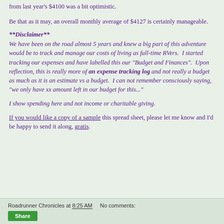from last year's $4100 was a bit optimistic.
Be that as it may, an overall monthly average of $4127 is certainly manageable.
**Disclaimer**
We have been on the road almost 5 years and knew a big part of this adventure would be to track and manage our costs of living as full-time RVers. I started tracking our expenses and have labelled this our "Budget and Finances". Upon reflection, this is really more of an expense tracking log and not really a budget as much as it is an estimate vs a budget. I can not remember consciously saying, "we only have xx amount left in our budget for this..."
I show spending here and not income or charitable giving.
If you would like a copy of a sample this spread sheet, please let me know and I'd be happy to send it along, gratis.
Roadrunner Chronicles at 8:25 AM   No comments: